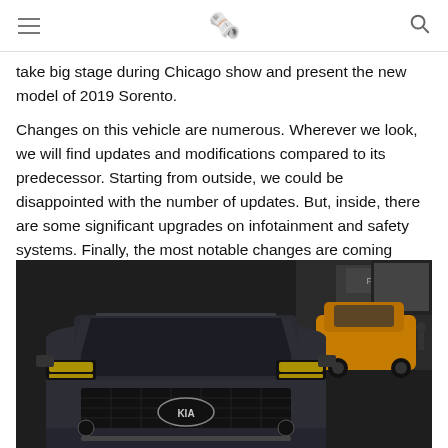≡ [newspaper icon] 🔍
take big stage during Chicago show and present the new model of 2019 Sorento.
Changes on this vehicle are numerous. Wherever we look, we will find updates and modifications compared to its predecessor. Starting from outside, we could be disappointed with the number of updates. But, inside, there are some significant upgrades on infotainment and safety systems. Finally, the most notable changes are coming under the hood. One drivetrain is out for 2019 season, while replacement could come with a diesel engine. All in all, a crossover worth of waiting and exploring.
[Figure (photo): Front view of a 2019 Kia Sorento SUV on display at an auto show, dark grey color with KIA badge visible on the grille, other vehicles visible in the background including an orange crossover.]